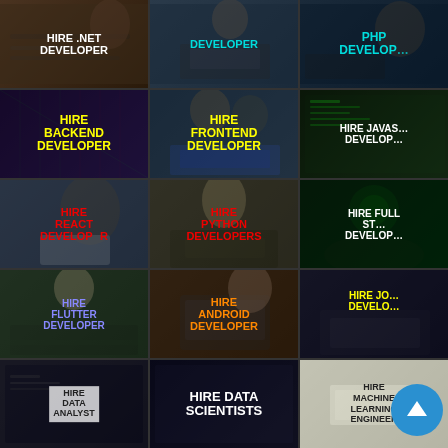[Figure (infographic): Grid of 15 thumbnail images advertising developer hiring services including .NET, PHP, Backend, Frontend, JavaScript, React, Python, Full Stack, Flutter, Android, Java, Data Analyst, Data Scientists, Machine Learning Engineer developers]
HIRE .NET DEVELOPER
DEVELOPER
PHP DEVELOPER
HIRE BACKEND DEVELOPER
HIRE FRONTEND DEVELOPER
HIRE JAVASCRIPT DEVELOPER
HIRE REACT DEVELOPER
HIRE PYTHON DEVELOPERS
HIRE FULL STACK DEVELOPER
HIRE FLUTTER DEVELOPER
HIRE ANDROID DEVELOPER
HIRE JAVA DEVELOPER
HIRE DATA ANALYST
HIRE DATA SCIENTISTS
HIRE MACHINE LEARNING ENGINEER